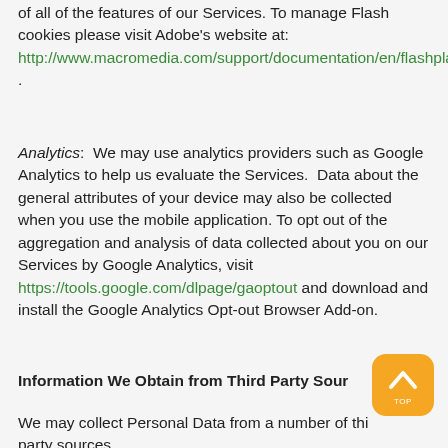of all of the features of our Services. To manage Flash cookies please visit Adobe's website at: http://www.macromedia.com/support/documentation/en/flashplayer/help/settings_manager07.html .
Analytics: We may use analytics providers such as Google Analytics to help us evaluate the Services. Data about the general attributes of your device may also be collected when you use the mobile application. To opt out of the aggregation and analysis of data collected about you on our Services by Google Analytics, visit https://tools.google.com/dlpage/gaoptout and download and install the Google Analytics Opt-out Browser Add-on.
Information We Obtain from Third Party Sour
We may collect Personal Data from a number of third party sources.